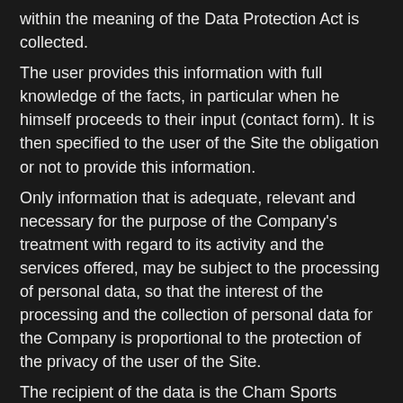within the meaning of the Data Protection Act is collected.
The user provides this information with full knowledge of the facts, in particular when he himself proceeds to their input (contact form). It is then specified to the user of the Site the obligation or not to provide this information.
Only information that is adequate, relevant and necessary for the purpose of the Company's treatment with regard to its activity and the services offered, may be subject to the processing of personal data, so that the interest of the processing and the collection of personal data for the Company is proportional to the protection of the privacy of the user of the Site.
The recipient of the data is the Cham Sports Company, the people working for it to accomplish its missions, as well as BEVOUAK, as subcontractor of the Site Owner, creator of the Site.